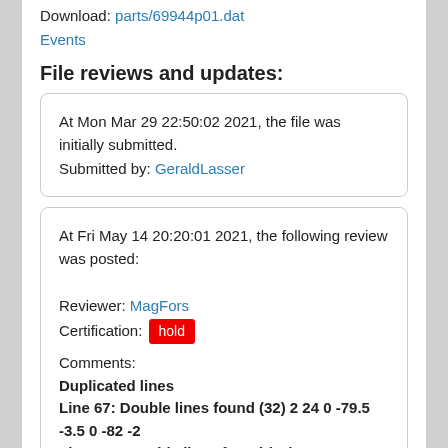Download: parts/69944p01.dat
Events
File reviews and updates:
At Mon Mar 29 22:50:02 2021, the file was initially submitted.
Submitted by: GeraldLasser
At Fri May 14 20:20:01 2021, the following review was posted:

Reviewer: MagFors
Certification: hold
Comments:
Duplicated lines
Line 67: Double lines found (32) 2 24 0 -79.5 -3.5 0 -82 -2
Line 132: Double lines found (97) 2 24 0 -79.5 3.5 0 -82 2